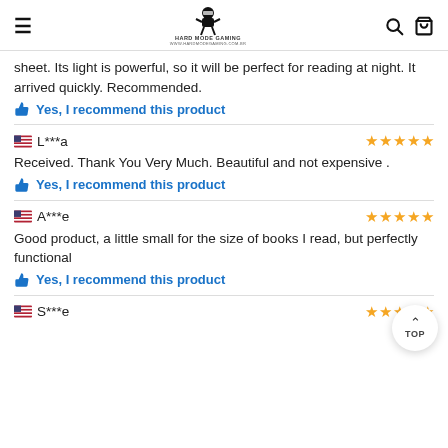Hard Mode Gaming — navigation header with hamburger, logo, search, cart
sheet. Its light is powerful, so it will be perfect for reading at night. It arrived quickly. Recommended.
Yes, I recommend this product
L***a — 5 stars
Received. Thank You Very Much. Beautiful and not expensive .
Yes, I recommend this product
A***e — 5 stars
Good product, a little small for the size of books I read, but perfectly functional
Yes, I recommend this product
S***e — stars visible (partial)
Need to buy 3 AAA batteries. The feet are incredible for placing it on b...